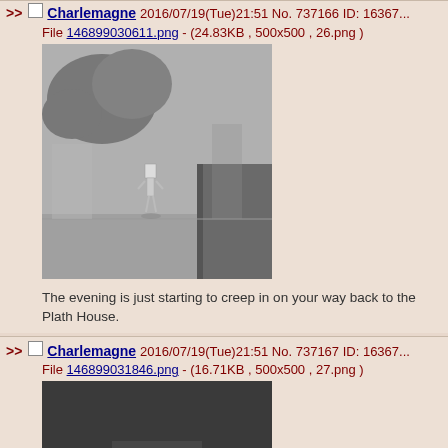>> Charlemagne 2016/07/19(Tue)21:51 No. 737166 ID: 16367... File 146899030611.png - (24.83KB , 500x500 , 26.png )
[Figure (illustration): Grayscale illustration of a robot-like figure standing in an outdoor scene with dark smoke/clouds and architectural elements]
The evening is just starting to creep in on your way back to the Plath House.
>> Charlemagne 2016/07/19(Tue)21:51 No. 737167 ID: 16367... File 146899031846.png - (16.71KB , 500x500 , 27.png )
[Figure (illustration): Dark grayscale illustration, mostly black/dark gray with a faint light shape at bottom]